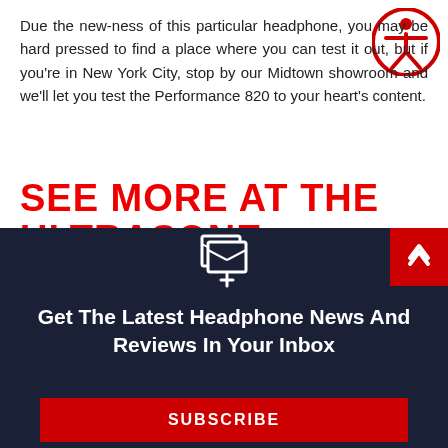Due the new-ness of this particular headphone, you may be hard pressed to find a place where you can test it out, but if you're in New York City, stop by our Midtown showroom and we'll let you test the Performance 820 to your heart's content.
[Figure (illustration): Accessibility icon — person with arms out in a circle, red border on white background]
SEE MORE AT THE ULTRASONE STORE AT AUDIO46!
[Figure (illustration): Gift box icon with bow, white on teal circle with orange/gold gradient border, notification badge showing 1]
[Figure (illustration): Dark navy banner section with email/subscribe icon, heading text, and a red subscribe button]
Get The Latest Headphone News And Reviews In Your Inbox
SUBSCRIBE